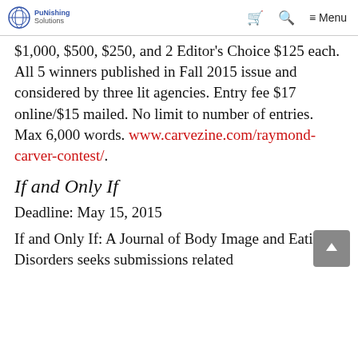PuNishing Solutions | [cart icon] [search icon] ≡ Menu
$1,000, $500, $250, and 2 Editor's Choice $125 each. All 5 winners published in Fall 2015 issue and considered by three lit agencies. Entry fee $17 online/$15 mailed. No limit to number of entries. Max 6,000 words. www.carvezine.com/raymond-carver-contest/.
If and Only If
Deadline: May 15, 2015
If and Only If: A Journal of Body Image and Eating Disorders seeks submissions related